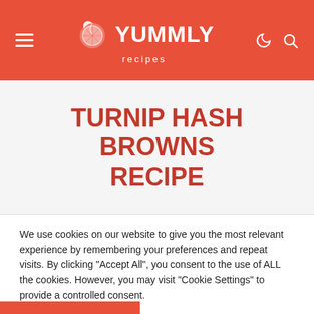YUMMLY recipes
TURNIP HASH BROWNS RECIPE
We use cookies on our website to give you the most relevant experience by remembering your preferences and repeat visits. By clicking "Accept All", you consent to the use of ALL the cookies. However, you may visit "Cookie Settings" to provide a controlled consent.
Cookie Settings | Accept All